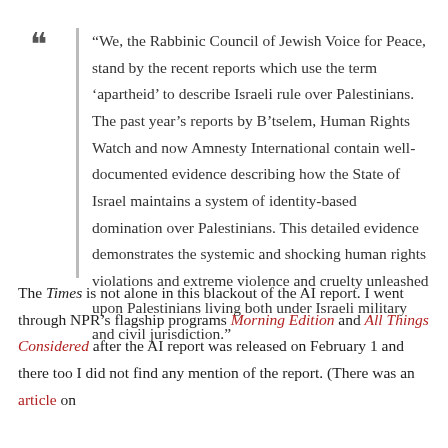“We, the Rabbinic Council of Jewish Voice for Peace, stand by the recent reports which use the term ‘apartheid’ to describe Israeli rule over Palestinians. The past year’s reports by B’tselem, Human Rights Watch and now Amnesty International contain well-documented evidence describing how the State of Israel maintains a system of identity-based domination over Palestinians. This detailed evidence demonstrates the systemic and shocking human rights violations and extreme violence and cruelty unleashed upon Palestinians living both under Israeli military and civil jurisdiction.”
The Times is not alone in this blackout of the AI report. I went through NPR’s flagship programs Morning Edition and All Things Considered after the AI report was released on February 1 and there too I did not find any mention of the report. (There was an article on